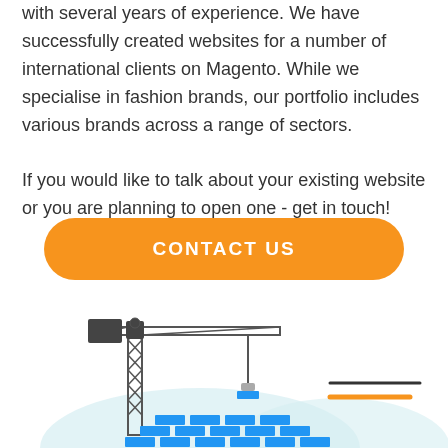with several years of experience. We have successfully created websites for a number of international clients on Magento. While we specialise in fashion brands, our portfolio includes various brands across a range of sectors.

If you would like to talk about your existing website or you are planning to open one - get in touch!
[Figure (illustration): Orange rounded rectangle button labeled 'CONTACT US' in white bold uppercase text]
[Figure (illustration): Construction crane illustration with blue bricks being stacked, light blue cloud/hill shapes in background, and two horizontal lines (one dark, one orange) on the right side]